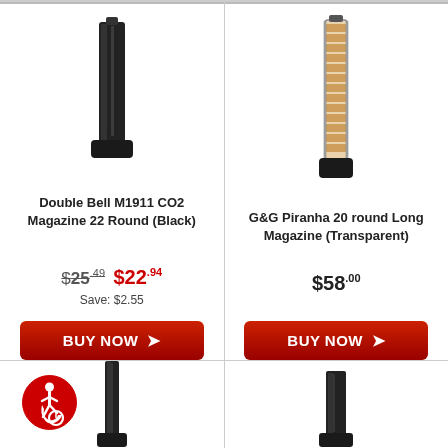[Figure (photo): Black pistol magazine (Double Bell M1911 CO2 Magazine 22 Round Black)]
Double Bell M1911 CO2 Magazine 22 Round (Black)
$25.49  $22.94
Save: $2.55
[Figure (other): BUY NOW button (left product)]
[Figure (photo): Transparent long magazine (G&G Piranha 20 round Long Magazine Transparent)]
G&G Piranha 20 round Long Magazine (Transparent)
$58.00
[Figure (other): BUY NOW button (right product)]
[Figure (photo): Black magazine partially visible at bottom left]
[Figure (photo): Black magazine partially visible at bottom right]
[Figure (other): Accessibility icon (wheelchair symbol) at bottom left]